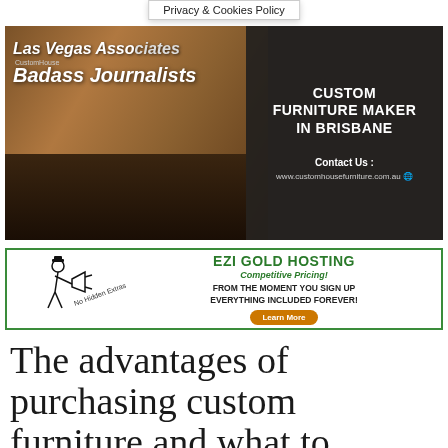Privacy & Cookies Policy
[Figure (photo): Custom furniture maker advertisement showing wooden table in workshop. Text overlay: 'Las Vegas Asso... ets', 'CustomHouse', 'Badass Journalists'. Right dark panel: 'CUSTOM FURNITURE MAKER IN BRISBANE', 'Contact Us:', 'www.customhousefurniture.com.au']
[Figure (infographic): EZI GOLD HOSTING advertisement. Features illustration of man with megaphone and text 'No Hidden Extras'. Text: 'EZI GOLD HOSTING', 'Competitive Pricing!', 'FROM THE MOMENT YOU SIGN UP EVERYTHING INCLUDED FOREVER!', 'Learn More' button.]
The advantages of purchasing custom furniture and what to...